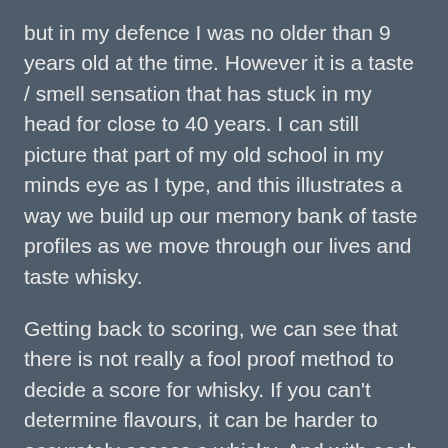but in my defence I was no older than 9 years old at the time. However it is a taste / smell sensation that has stuck in my head for close to 40 years. I can still picture that part of my old school in my minds eye as I type, and this illustrates a way we build up our memory bank of taste profiles as we move through our lives and taste whisky.
Getting back to scoring, we can see that there is not really a fool proof method to decide a score for whisky. If you can't determine flavours, it can be harder to accurately assess a whisky. And with each of us being biologically different and with different outlooks, it is potentially less possible to get a reliable score based on so many variables across so many opinions. Plus, how do we set each criteria?